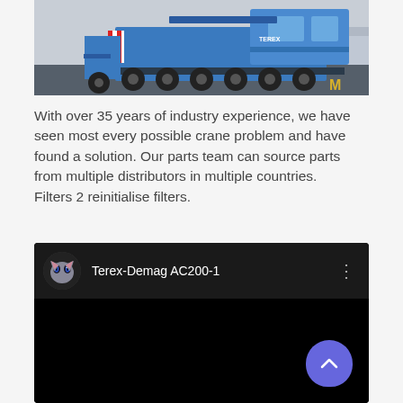[Figure (photo): A large blue mobile crane (TEREX) with multiple axles, photographed in an industrial yard. A yellow 'M' logo is visible in the lower right corner of the photo.]
With over 35 years of industry experience, we have seen most every possible crane problem and have found a solution. Our parts team can source parts from multiple distributors in multiple countries. Filters 2 reinitialise filters.
[Figure (screenshot): A YouTube-style video thumbnail showing a channel avatar (a cat with blue eyes) next to the title 'Terex-Demag AC200-1'. A three-dot menu icon is on the right. The video area is black with a purple/blue rounded scroll-to-top button in the lower right.]